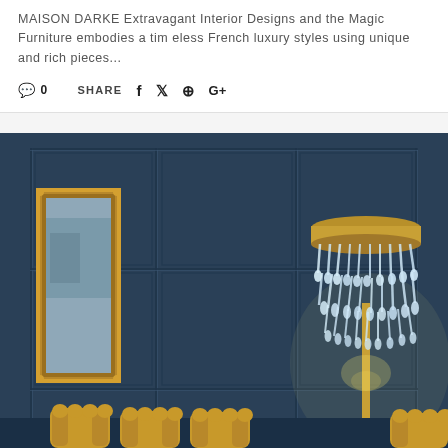MAISON DARKE Extravagant Interior Designs and the Magic Furniture embodies a timeless French luxury styles using unique and rich pieces...
0   SHARE   f   twitter   pinterest   G+
[Figure (photo): Luxury French interior design room with dark navy blue panelled walls, a gold-framed painting on the left wall, a crystal chandelier floor lamp with brass stand on the right, and gold velvet chairs in the foreground]